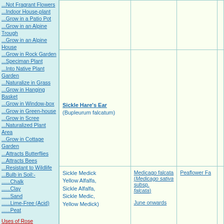...Not Fragrant Flowers
...Indoor House-plant
...Grow in a Patio Pot
...Grow in an Alpine Trough
...Grow in an Alpine House
...Grow in Rock Garden
...Speciman Plant
...Into Native Plant Garden
...Naturalize in Grass
...Grow in Hanging Basket
...Grow in Window-box
...Grow in Green-house
...Grow in Scree
...Naturalized Plant Area
...Grow in Cottage Garden
...Attracts Butterflies
...Attracts Bees
...Resistant to Wildlife
...Bulb in Soil:-
......Chalk
......Clay
......Sand
......Lime-Free (Acid)
......Peat
Uses of Rose
Rose Index
...Bedding 1, 2
...Climber /Pillar
...Cut-Flower 1, 2
...Exhibition, Speciman
...Ground Cover
| Common Name | Scientific Name | Flowering | Family |
| --- | --- | --- | --- |
| Sickle Hare's Ear (Bupleurum falcatum) |  |  |  |
| Sickle Medick Yellow Alfalfa, Sickle Alfalfa, Sickle Medic, Yellow Medick) | Medicago falcata (Medicago sativa subsp. falcata) June onwards | Peaflower Fa |  |
| Silky Bent (Apera spica-venti) |  |  |  |